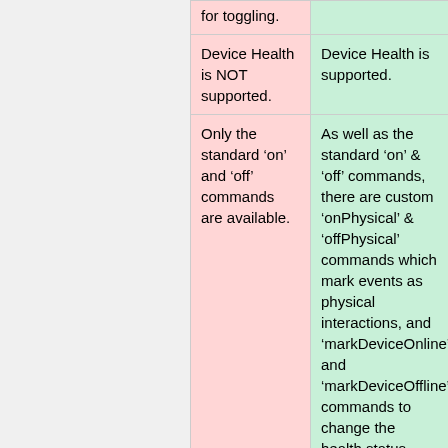| for toggling. |  |
| Device Health is NOT supported. | Device Health is supported. |
| Only the standard ‘on’ and ‘off’ commands are available. | As well as the standard ‘on’ & ‘off’ commands, there are custom ‘onPhysical’ & ‘offPhysical’ commands which mark events as physical interactions, and ‘markDeviceOnline’ and ‘markDeviceOffline’ commands to change the health status. |